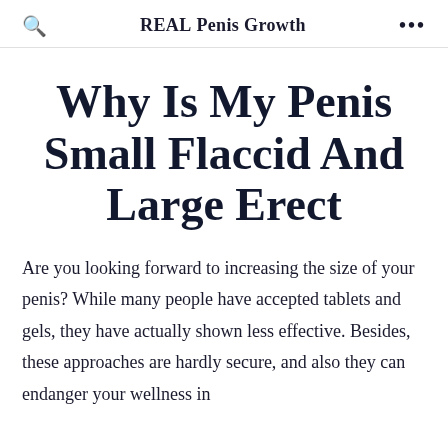REAL Penis Growth
Why Is My Penis Small Flaccid And Large Erect
Are you looking forward to increasing the size of your penis? While many people have accepted tablets and gels, they have actually shown less effective. Besides, these approaches are hardly secure, and also they can endanger your wellness in